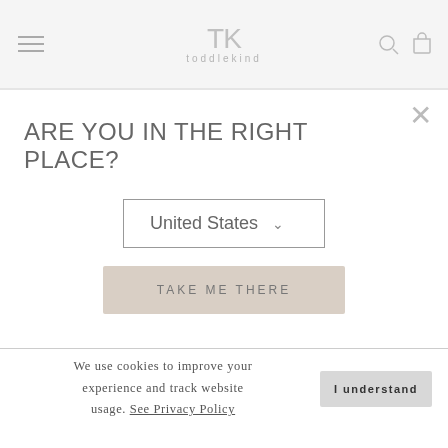toddlekind
ARE YOU IN THE RIGHT PLACE?
United States
TAKE ME THERE
[Figure (photo): Product photo of a toddler mat with leaf/botanical pattern in grey and white]
We use cookies to improve your experience and track website usage. See Privacy Policy
I understand